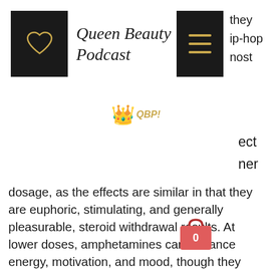Queen Beauty Podcast
[Figure (logo): Queen Beauty Podcast logo with heart icon in dark box and italic script text]
[Figure (logo): Navigation menu icon (hamburger) in dark box with text 'they ip-hop nost' to the right]
[Figure (illustration): Crown emoji with QBP text in gold italic]
ect
er
dosage, as the effects are similar in that they are euphoric, stimulating, and generally pleasurable, steroid withdrawal results. At lower doses, amphetamines can enhance energy, motivation, and mood, though they cannot enhance mental acuity or concentration as much as a typical MDMA. The effects from amphetamines are not as intense as those from the street Ecstasy, but may still be experienced as a drug-like experience. Amphetamines have no long-term adverse effects and are highly addictive with some users abusing their amphetamines for the pleasure of the high